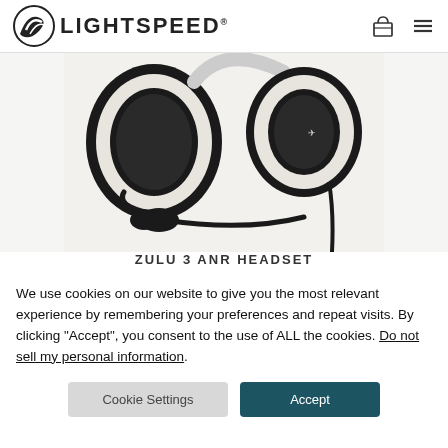LIGHTSPEED
[Figure (photo): Aviation ANR headset with large ear cups, boom microphone, and braided cable visible against a light background. The Lightspeed logo is visible on the ear cup.]
ZULU 3 ANR HEADSET
We use cookies on our website to give you the most relevant experience by remembering your preferences and repeat visits. By clicking “Accept”, you consent to the use of ALL the cookies. Do not sell my personal information.
Cookie Settings
Accept